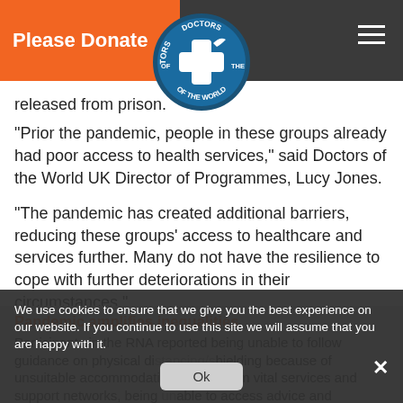Please Donate
[Figure (logo): Doctors of the World circular logo — blue circle with white cross and bird, text 'DOCTORS OF THE WORLD' around the border]
released from prison.
“Prior the pandemic, people in these groups already had poor access to health services,” said Doctors of the World UK Director of Programmes, Lucy Jones.
“The pandemic has created additional barriers, reducing these groups’ access to healthcare and services further. Many do not have the resilience to cope with further deteriorations in their circumstances.”
Pandemic amplifies inequalities
Participants in the RNA reported being unable to follow guidance on physical distancing/shielding because of unsuitable accommodation, cut off from vital services and support networks, being unable to access advice and healthcare for COVID-19 and other health problems, and
We use cookies to ensure that we give you the best experience on our website. If you continue to use this site we will assume that you are happy with it.